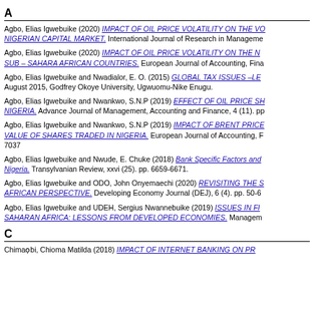A
Agbo, Elias Igwebuike (2020) IMPACT OF OIL PRICE VOLATILITY ON THE VO NIGERIAN CAPITAL MARKET. International Journal of Research in Manageme
Agbo, Elias Igwebuike (2020) IMPACT OF OIL PRICE VOLATILITY ON THE N SUB – SAHARA AFRICAN COUNTRIES. European Journal of Accounting, Fina
Agbo, Elias Igwebuike and Nwadialor, E. O. (2015) GLOBAL TAX ISSUES –LE August 2015, Godfrey Okoye University, Ugwuomu-Nike Enugu.
Agbo, Elias Igwebuike and Nwankwo, S.N.P (2019) EFFECT OF OIL PRICE SH NIGERIA. Advance Journal of Management, Accounting and Finance, 4 (11). pp
Agbo, Elias Igwebuike and Nwankwo, S.N.P (2019) IMPACT OF BRENT PRICE VALUE OF SHARES TRADED IN NIGERIA. European Journal of Accounting, F 7037
Agbo, Elias Igwebuike and Nwude, E. Chuke (2018) Bank Specific Factors and Nigeria. Transylvanian Review, xxvi (25). pp. 6659-6671.
Agbo, Elias Igwebuike and ODO, John Onyemaechi (2020) REVISITING THE S AFRICAN PERSPECTIVE. Developing Economy Journal (DEJ), 6 (4). pp. 50-6
Agbo, Elias Igwebuike and UDEH, Sergius Nwannebuike (2019) ISSUES IN FI SAHARAN AFRICA: LESSONS FROM DEVELOPED ECONOMIES. Managem
C
Chimaọbi, Chioma Matilda (2018) IMPACT OF INTERNET BANKING ON PR